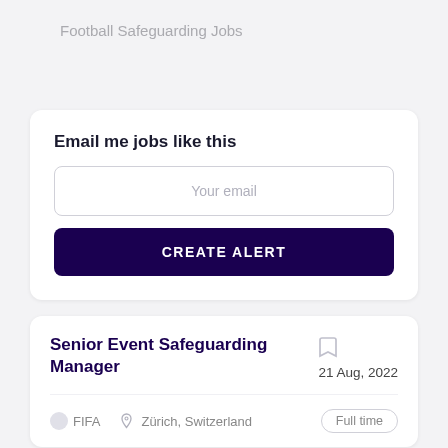Football Safeguarding Jobs
Email me jobs like this
Your email
CREATE ALERT
Senior Event Safeguarding Manager
21 Aug, 2022
FIFA
Zürich, Switzerland
Full time